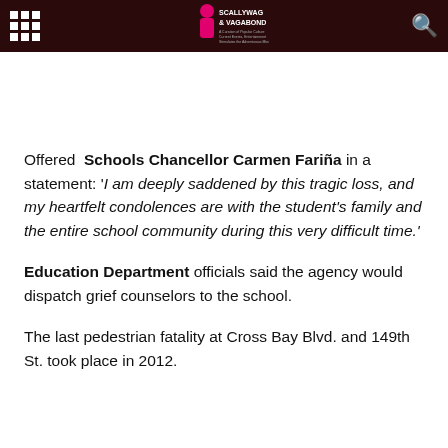Scallywag & Vagabond
Offered Schools Chancellor Carmen Fariña in a statement: 'I am deeply saddened by this tragic loss, and my heartfelt condolences are with the student's family and the entire school community during this very difficult time.'
Education Department officials said the agency would dispatch grief counselors to the school.
The last pedestrian fatality at Cross Bay Blvd. and 149th St. took place in 2012.